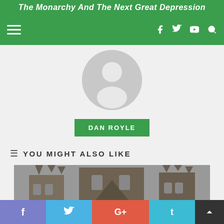The Monarchy And The Next Great Depression
[Figure (photo): Default user avatar placeholder: gray circle with white silhouette of a person]
DAN ROYLE
YOU MIGHT ALSO LIKE
[Figure (photo): Gothic cathedral facade with ornate stonework, pointed arches, and spires]
[Figure (infographic): Social share bar with Facebook, Twitter, Google+, and other sharing buttons, plus scroll-to-top arrow]